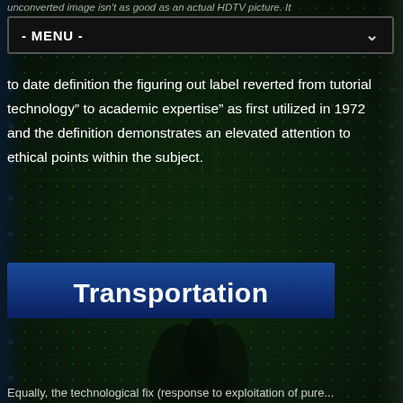unconverted image isn't as good as an actual HDTV picture. It
- MENU -
to date definition the figuring out label reverted from tutorial technology" to academic expertise" as first utilized in 1972 and the definition demonstrates an elevated attention to ethical points within the subject.
[Figure (screenshot): Blue banner with bold white text reading 'Transportation' overlaid on a dark green circuit board background image with a dark plant/object silhouette]
Equally, the technological fix (response to exploitation of pure...